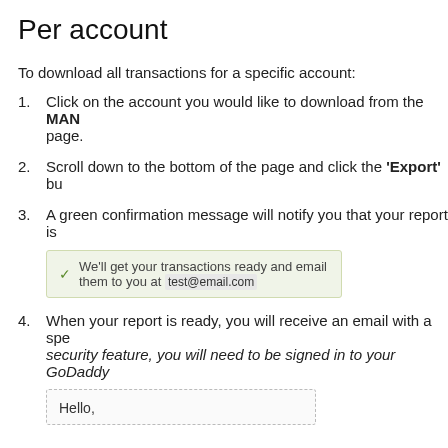Per account
To download all transactions for a specific account:
Click on the account you would like to download from the MAN page.
Scroll down to the bottom of the page and click the 'Export' bu
A green confirmation message will notify you that your report is
[Figure (screenshot): Green confirmation banner: checkmark icon followed by 'We'll get your transactions ready and email them to you at test@email.com']
When your report is ready, you will receive an email with a spe security feature, you will need to be signed in to your GoDaddy
[Figure (screenshot): Email preview box showing 'Hello,']